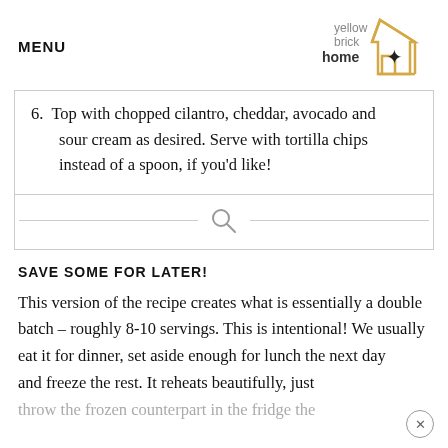MENU
[Figure (logo): Yellow Brick Home logo with house outline and star, text: yellow brick home]
6. Top with chopped cilantro, cheddar, avocado and sour cream as desired. Serve with tortilla chips instead of a spoon, if you'd like!
[Figure (other): Search bar with magnifying glass icon and horizontal lines on each side]
SAVE SOME FOR LATER!
This version of the recipe creates what is essentially a double batch – roughly 8-10 servings. This is intentional! We usually eat it for dinner, set aside enough for lunch the next day and freeze the rest. It reheats beautifully, just throw the frozen counterpart in the fridge the